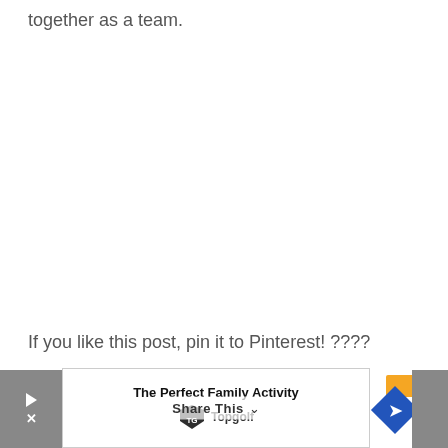together as a team.
If you like this post, pin it to Pinterest! ????
[Figure (screenshot): Advertisement banner for Topgolf showing 'The Perfect Family Activity' with play button, navigation arrow, Share This button, and close button on grey background]